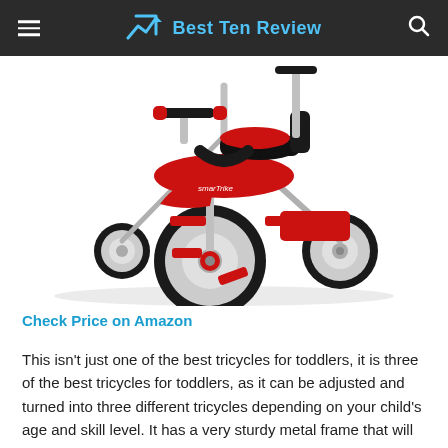Best Ten Review
[Figure (photo): Close-up photo of a red and black smarTrike toddler tricycle with silver metal frame, three wheels, red seat, black handlebar, and red pedals on white background.]
Check Price on Amazon
This isn't just one of the best tricycles for toddlers, it is three of the best tricycles for toddlers, as it can be adjusted and turned into three different tricycles depending on your child's age and skill level. It has a very sturdy metal frame that will